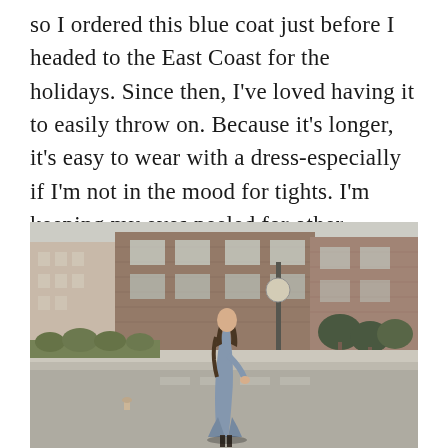so I ordered this blue coat just before I headed to the East Coast for the holidays. Since then, I've loved having it to easily throw on. Because it's longer, it's easy to wear with a dress-especially if I'm not in the mood for tights. I'm keeping my eyes peeled for other colored coats that might need to make their way into my closet (especially as some start to go on sale).
[Figure (photo): A woman with long brown hair wearing a long blue/grey coat crosses a street in an urban setting with brick buildings and trees in the background.]